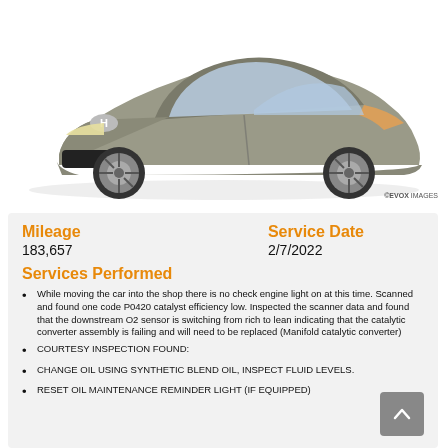[Figure (photo): Front three-quarter view of a silver/gray Honda Civic coupe on white background]
©EVOX IMAGES
Mileage
183,657
Service Date
2/7/2022
Services Performed
While moving the car into the shop there is no check engine light on at this time. Scanned and found one code P0420 catalyst efficiency low. Inspected the scanner data and found that the downstream O2 sensor is switching from rich to lean indicating that the catalytic converter assembly is failing and will need to be replaced (Manifold catalytic converter)
COURTESY INSPECTION FOUND:
CHANGE OIL USING SYNTHETIC BLEND OIL, INSPECT FLUID LEVELS.
RESET OIL MAINTENANCE REMINDER LIGHT (IF EQUIPPED)